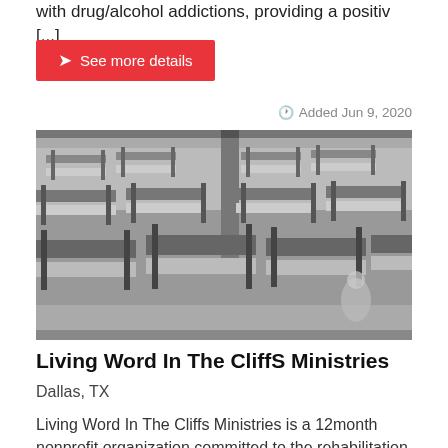with drug/alcohol addictions, providing a positiv [...]
See more details
Added Jun 9, 2020
[Figure (photo): Black and white photo of a large shelter room filled with rows of bunk beds]
Living Word In The CliffS Ministries
Dallas, TX
Living Word In The Cliffs Ministries is a 12month nonprofit organization committed to the rehabilitation and transformation of formerly incarcerated and